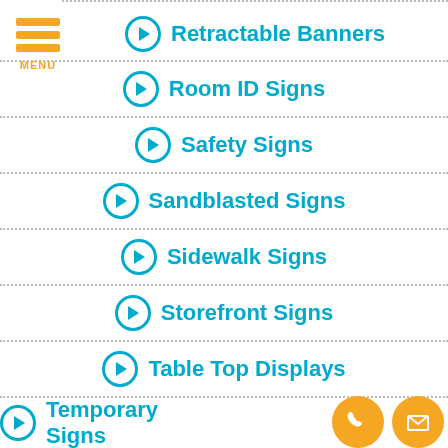[Figure (logo): Orange hamburger menu icon with three horizontal bars and MENU label]
Retractable Banners
Room ID Signs
Safety Signs
Sandblasted Signs
Sidewalk Signs
Storefront Signs
Table Top Displays
Temporary Signs
[Figure (illustration): Two orange circular contact buttons: phone and email icons]